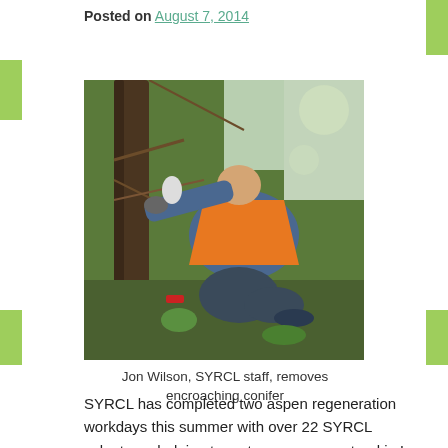Posted on August 7, 2014
[Figure (photo): A person wearing an orange safety vest and blue long-sleeve shirt crouches near the base of a tree in a forested area, apparently working on removing an encroaching conifer. The person is wearing gloves and appears to be using a tool near the tree roots. Surrounding area has brush and dappled light.]
Jon Wilson, SYRCL staff, removes encroaching conifer
SYRCL has completed two aspen regeneration workdays this summer with over 22 SYRCL volunteers helping to restore an aspen stand in Loney Meadow. Our